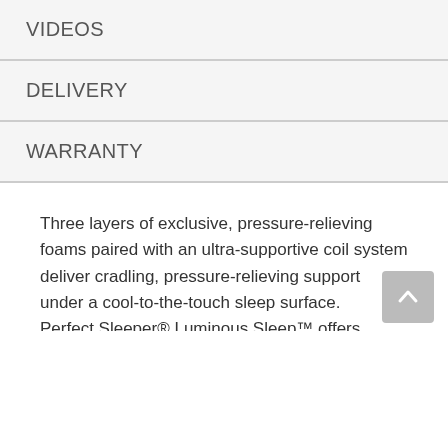VIDEOS
DELIVERY
WARRANTY
Three layers of exclusive, pressure-relieving foams paired with an ultra-supportive coil system deliver cradling, pressure-relieving support under a cool-to-the-touch sleep surface. Perfect Sleeper® Luminous Sleep™ offers enhanced pressure-relieving comfort thanks to three layers of exclusive Serta® foams: HexCloud™ Gel Memory Foam, WonderCloud™ Memory Foam, and BubbleCloud™ Foam, and the 1000 Edition Custom Support Coil System. This top-of-the-line mattress delivers the ultimate comfort experience with the addition of an antimicrobial*, cool-to-the-touch sleep surface to